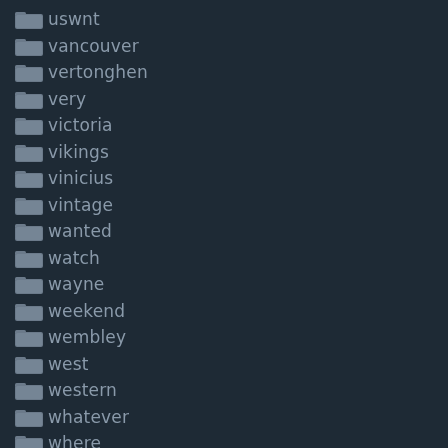uswnt
vancouver
vertonghen
very
victoria
vikings
vinicius
vintage
wanted
watch
wayne
weekend
wembley
west
western
whatever
where
white